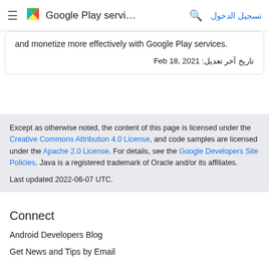Google Play servi... تسجيل الدخول
and monetize more effectively with Google Play services.
تاريخ آخر تعديل: Feb 18, 2021
Except as otherwise noted, the content of this page is licensed under the Creative Commons Attribution 4.0 License, and code samples are licensed under the Apache 2.0 License. For details, see the Google Developers Site Policies. Java is a registered trademark of Oracle and/or its affiliates.
Last updated 2022-06-07 UTC.
Connect
Android Developers Blog
Get News and Tips by Email